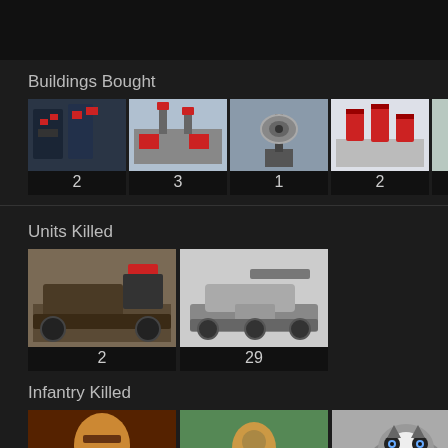Buildings Bought
[Figure (infographic): Six building thumbnail images in a row with counts: 2, 3, 1, 2, 4, 4]
Units Killed
[Figure (infographic): Two unit thumbnail images in a row with counts: 2, 29]
Infantry Killed
[Figure (infographic): Three infantry thumbnail images in a row with counts: 10, 1, 24]
Planes Killed